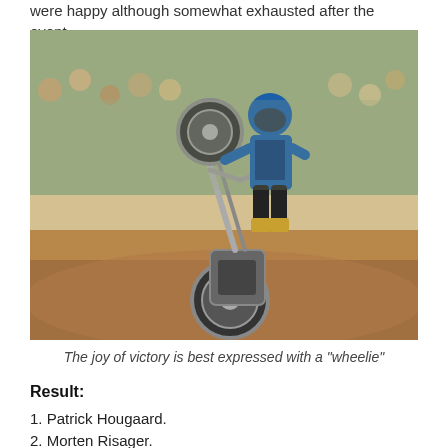were happy although somewhat exhausted after the event.
[Figure (photo): A speedway motorcycle rider in blue racing gear performing a wheelie on a dirt track, with a crowd of spectators watching in the background on a sunny day.]
The joy of victory is best expressed with a "wheelie"
Result:
1. Patrick Hougaard.
2. Morten Risager.